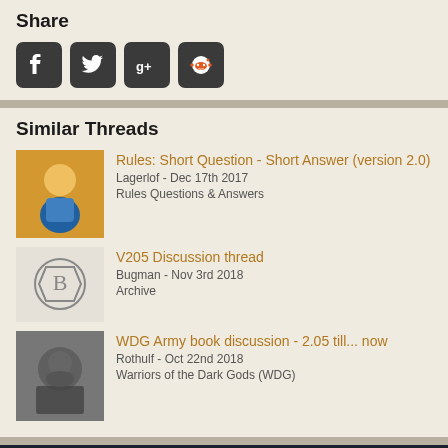Share
[Figure (infographic): Social media share icons: Facebook, Twitter, Google+, Reddit]
Similar Threads
Rules: Short Question - Short Answer (version 2.0)
Lagerlof - Dec 17th 2017
Rules Questions & Answers
V205 Discussion thread
Bugman - Nov 3rd 2018
Archive
WDG Army book discussion - 2.05 till... now
Rothulf - Oct 22nd 2018
Warriors of the Dark Gods (WDG)
Privacy Policy  Legal Notice  Terms of use  About Us  Contact
Staff Members
Change Style  ↑
Forum Software: Burning Board® 4.1.20 pl 1, developed by WoltLab® GmbH